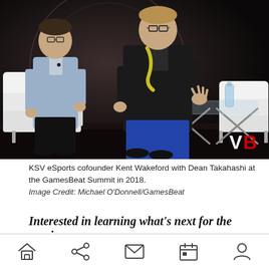[Figure (photo): Two men seated on white sofas on a stage. Left person wears a light blue shirt and dark pants. Right person wears a dark blazer with glasses, gesturing with hands. A glass coffee table is in front of them. VB (VentureBeat) logo in bottom right corner. Dark background with circular design element.]
KSV eSports cofounder Kent Wakeford with Dean Takahashi at the GamesBeat Summit in 2018.
Image Credit: Michael O'Donnell/GamesBeat
Interested in learning what's next for the gaming